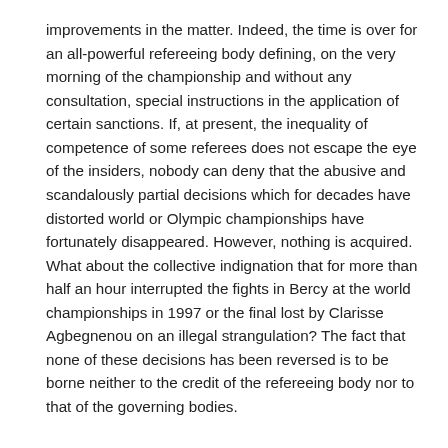improvements in the matter. Indeed, the time is over for an all-powerful refereeing body defining, on the very morning of the championship and without any consultation, special instructions in the application of certain sanctions. If, at present, the inequality of competence of some referees does not escape the eye of the insiders, nobody can deny that the abusive and scandalously partial decisions which for decades have distorted world or Olympic championships have fortunately disappeared. However, nothing is acquired. What about the collective indignation that for more than half an hour interrupted the fights in Bercy at the world championships in 1997 or the final lost by Clarisse Agbegnenou on an illegal strangulation? The fact that none of these decisions has been reversed is to be borne neither to the credit of the refereeing body nor to that of the governing bodies.